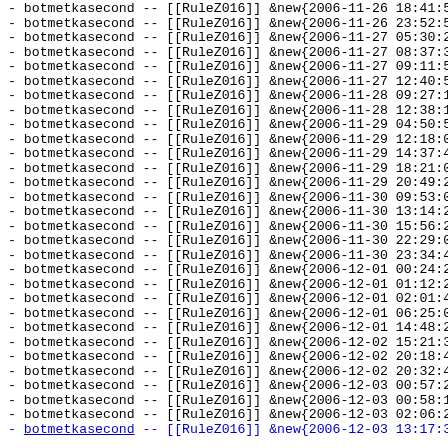- botmetkasecond -- [[RuleZ016]] &new{2006-11-26 18:41:53
- botmetkasecond -- [[RuleZ016]] &new{2006-11-26 23:52:52
- botmetkasecond -- [[RuleZ016]] &new{2006-11-27 05:30:26
- botmetkasecond -- [[RuleZ016]] &new{2006-11-27 08:37:33
- botmetkasecond -- [[RuleZ016]] &new{2006-11-27 09:11:58
- botmetkasecond -- [[RuleZ016]] &new{2006-11-27 12:40:51
- botmetkasecond -- [[RuleZ016]] &new{2006-11-28 09:27:15
- botmetkasecond -- [[RuleZ016]] &new{2006-11-28 12:38:18
- botmetkasecond -- [[RuleZ016]] &new{2006-11-29 04:50:54
- botmetkasecond -- [[RuleZ016]] &new{2006-11-29 12:18:01
- botmetkasecond -- [[RuleZ016]] &new{2006-11-29 14:37:41
- botmetkasecond -- [[RuleZ016]] &new{2006-11-29 18:21:07
- botmetkasecond -- [[RuleZ016]] &new{2006-11-29 20:49:29
- botmetkasecond -- [[RuleZ016]] &new{2006-11-30 09:53:04
- botmetkasecond -- [[RuleZ016]] &new{2006-11-30 13:14:22
- botmetkasecond -- [[RuleZ016]] &new{2006-11-30 15:56:22
- botmetkasecond -- [[RuleZ016]] &new{2006-11-30 22:29:08
- botmetkasecond -- [[RuleZ016]] &new{2006-11-30 23:34:42
- botmetkasecond -- [[RuleZ016]] &new{2006-12-01 00:24:25
- botmetkasecond -- [[RuleZ016]] &new{2006-12-01 01:12:25
- botmetkasecond -- [[RuleZ016]] &new{2006-12-01 02:01:43
- botmetkasecond -- [[RuleZ016]] &new{2006-12-01 06:25:00
- botmetkasecond -- [[RuleZ016]] &new{2006-12-01 14:48:23
- botmetkasecond -- [[RuleZ016]] &new{2006-12-02 15:21:36
- botmetkasecond -- [[RuleZ016]] &new{2006-12-02 20:18:42
- botmetkasecond -- [[RuleZ016]] &new{2006-12-02 20:32:47
- botmetkasecond -- [[RuleZ016]] &new{2006-12-03 00:57:20
- botmetkasecond -- [[RuleZ016]] &new{2006-12-03 00:58:10
- botmetkasecond -- [[RuleZ016]] &new{2006-12-03 02:06:21
- botmetkasecond -- [[RuleZ016]] &new{2006-12-03 13:17:32